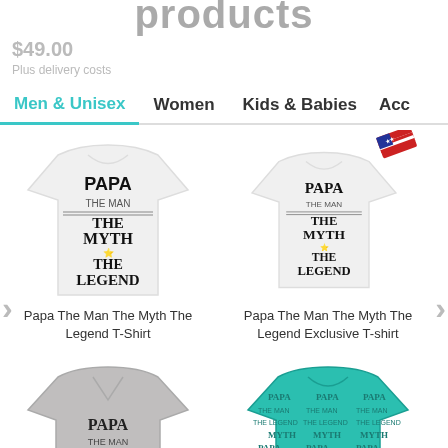products
$49.00
Plus delivery costs
Men & Unisex
Women
Kids & Babies
Acc
[Figure (photo): White t-shirt with text PAPA THE MAN THE MYTH THE LEGEND]
Papa The Man The Myth The Legend T-Shirt
[Figure (photo): White t-shirt with text PAPA THE MAN THE MYTH THE LEGEND with USA flag badge]
Papa The Man The Myth The Legend Exclusive T-shirt
[Figure (photo): Gray v-neck t-shirt with PAPA THE MAN text]
[Figure (photo): Teal all-over print t-shirt with repeating PAPA THE MAN THE MYTH THE LEGEND pattern]